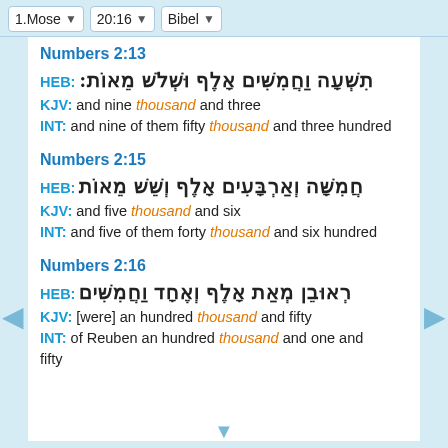1.Mose | 20:16 | Bibel
Numbers 2:13
HEB: תִשְׁעָה וַחֲמִשִּׁים אָלֶף וּשְׁלֹשׁ מֵאוֹת
KJV: and nine thousand and three
INT: and nine of them fifty thousand and three hundred
Numbers 2:15
HEB: חֲמִשָּׁה וְאַרְבָּעִים אָלֶף וְשֵׁשׁ מֵאוֹת
KJV: and five thousand and six
INT: and five of them forty thousand and six hundred
Numbers 2:16
HEB: רְאוּבֵן מְאַת אָלֶף וְאֶחָד וַחֲמִשִּׁים
KJV: [were] an hundred thousand and fifty
INT: of Reuben an hundred thousand and one and fifty